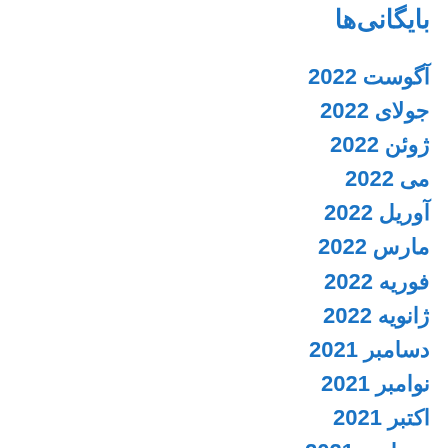بایگانی‌ها
آگوست 2022
جولای 2022
ژوئن 2022
می 2022
آوریل 2022
مارس 2022
فوریه 2022
ژانویه 2022
دسامبر 2021
نوامبر 2021
اکتبر 2021
سپتامبر 2021